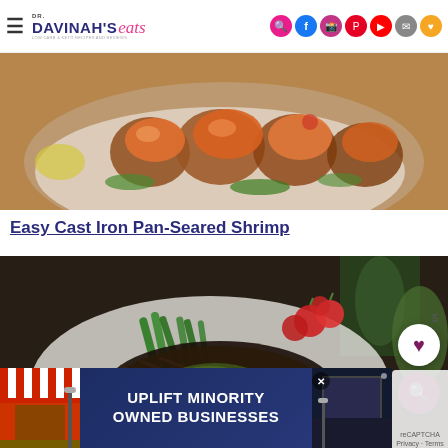DR. DAVINAH'S eats
[Figure (photo): Close-up photo of pan-seared scallops and shrimp on a white speckled plate with herbs and lemon]
Easy Cast Iron Pan-Seared Shrimp
[Figure (photo): Food photo showing a white plate with grilled shrimp, green beans, cherry tomatoes, lemon wedge, and a dark seared steak with herb sauce on a dark background]
[Figure (photo): Advertisement banner: UPLIFT MINORITY OWNED BUSINESSES with store illustration]